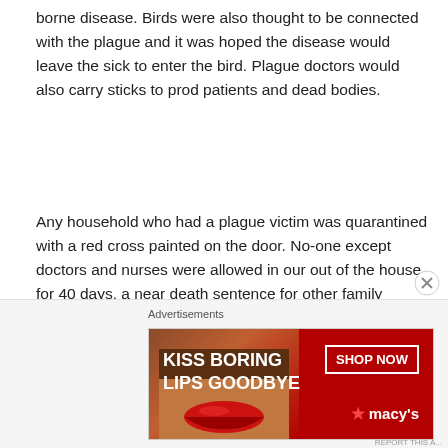borne disease.  Birds were also thought to be connected with the plague and it was hoped the disease would leave the sick to enter the bird.  Plague doctors would also carry sticks to prod patients and dead bodies.
Any household who had a plague victim was quarantined with a red cross painted on the door.  No-one except doctors and nurses were allowed in our out of the house for 40 days, a near death sentence for other family members.   Unfortunate people were paid money to wander the streets shouting “bring out your dead” with dead victims dragged onto the cart and taken away to be buried in a plague pit.
[Figure (other): Advertisement banner for Macy's lipstick product. Text reads 'KISS BORING LIPS GOODBYE' with a 'SHOP NOW' button and the Macy's star logo on a red background.]